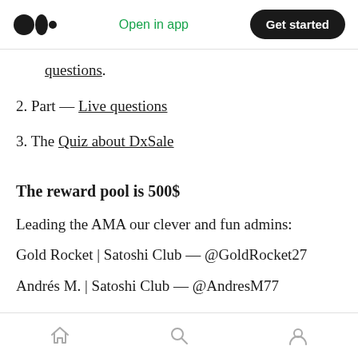Medium | Open in app | Get started
questions.
2. Part — Live questions
3. The Quiz about DxSale
The reward pool is 500$
Leading the AMA our clever and fun admins:
Gold Rocket | Satoshi Club — @GoldRocket27
Andrés M. | Satoshi Club — @AndresM77
Home | Search | Profile